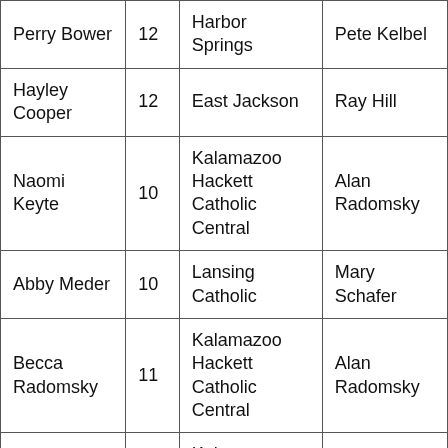| Perry Bower | 12 | Harbor Springs | Pete Kelbel |
| Hayley Cooper | 12 | East Jackson | Ray Hill |
| Naomi Keyte | 10 | Kalamazoo Hackett Catholic Central | Alan Radomsky |
| Abby Meder | 10 | Lansing Catholic | Mary Schafer |
| Becca Radomsky | 11 | Kalamazoo Hackett Catholic Central | Alan Radomsky |
| Erinn Scott | 12 | Kalamazoo Hackett Catholic Central | Alan Radomsky |
| Megan Sims | 12 | Comstock | Tracy Daniel |
| Allison Starr | 12 | NorthPointe Christian High | Tom Koert |